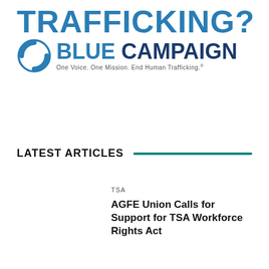[Figure (logo): Blue Campaign logo with 'TRAFFICKING?' text in distressed blue stamp font above, then circular arrow icon with 'BLUE CAMPAIGN' text and tagline 'One Voice. One Mission. End Human Trafficking.']
LATEST ARTICLES
TSA
AGFE Union Calls for Support for TSA Workforce Rights Act